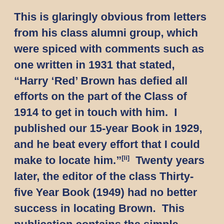This is glaringly obvious from letters from his class alumni group, which were spiced with comments such as one written in 1931 that stated, “Harry ‘Red’ Brown has defied all efforts on the part of the Class of 1914 to get in touch with him.  I published our 15-year Book in 1929, and he beat every effort that I could make to locate him.”[li]  Twenty years later, the editor of the class Thirty-five Year Book (1949) had no better success in locating Brown.  This publication contains the simple statement under Brown’s name, “…